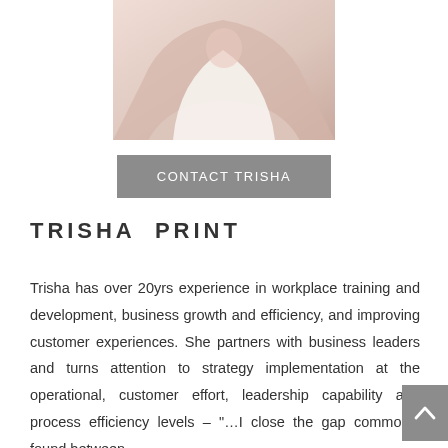[Figure (photo): Partial photo of Trisha, showing upper body in a light pink/blush blazer over white top, cropped at the top]
CONTACT TRISHA
TRISHA PRINT
Trisha has over 20yrs experience in workplace training and development, business growth and efficiency, and improving customer experiences. She partners with business leaders and turns attention to strategy implementation at the operational, customer effort, leadership capability and process efficiency levels – "…I close the gap commonly found between